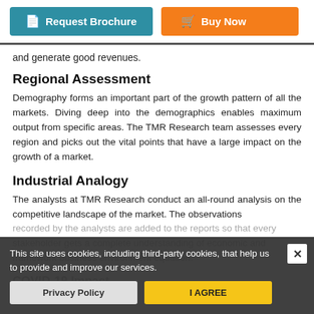[Figure (other): Request Brochure and Buy Now buttons at the top of the page]
and generate good revenues.
Regional Assessment
Demography forms an important part of the growth pattern of all the markets. Diving deep into the demographics enables maximum output from specific areas. The TMR Research team assesses every region and picks out the vital points that have a large impact on the growth of a market.
Industrial Analogy
The analysts at TMR Research conduct an all-round analysis on the competitive landscape of the market. The observations recorded by the analysts are added to the reports so that every stakeholder gets a complete understanding of economic and framework business environment equation.
COVID-19 Impact
This site uses cookies, including third-party cookies, that help us to provide and improve our services.